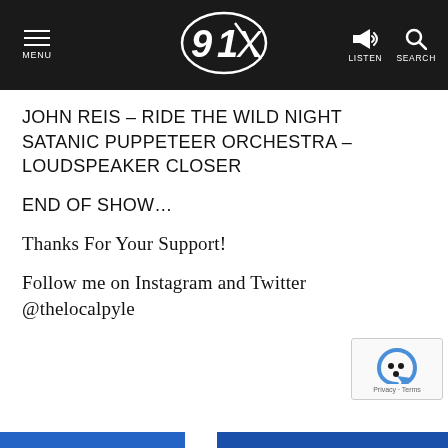91X — MENU | LISTEN | SEARCH
JOHN REIS – RIDE THE WILD NIGHT
SATANIC PUPPETEER ORCHESTRA – LOUDSPEAKER CLOSER
END OF SHOW…
Thanks For Your Support!
Follow me on Instagram and Twitter @thelocalpyle